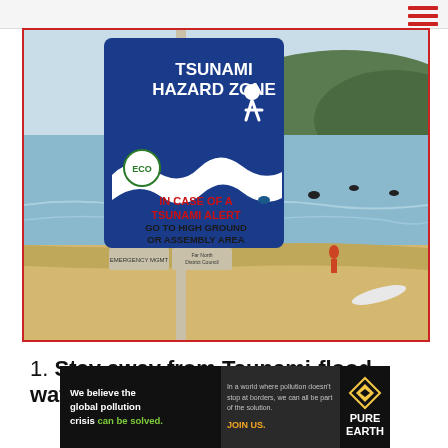[Figure (photo): A tsunami hazard zone warning sign on a beach. The sign has a blue background with white text reading 'TSUNAMI HAZARD ZONE' and an ECO logo, plus red text reading 'IN CASE OF A TSUNAMI ALERT GO TO HIGH GROUND OR ASSEMBLY AREA' with logos for Far North District Council. Behind the sign is a sandy beach with surfers in the water and green hills in the background.]
1. Stay away from Tsunami-flood waters
[Figure (other): Advertisement banner for Pure Earth organization. Left side black background reads 'We believe the global pollution crisis can be solved.' (with 'can be solved.' in green). Middle dark background reads 'In a world where pollution doesn't stop at borders, we can all be part of the solution. JOIN US.' Right side shows Pure Earth logo with gold/yellow chevron diamond shape and white text 'PURE EARTH'.]